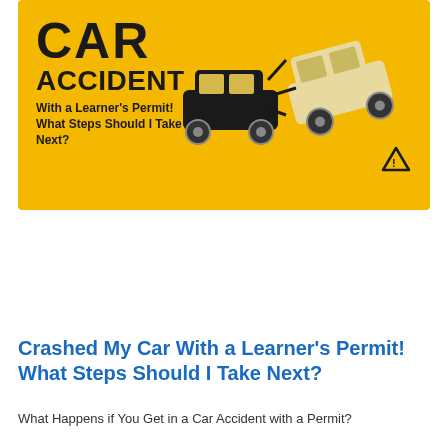[Figure (illustration): Yellow banner illustration showing two cars colliding, with text 'CAR ACCIDENT With a Learner's Permit! What Steps Should I Take Next?' on yellow background]
Crashed My Car With a Learner's Permit! What Steps Should I Take Next?
What Happens if You Get in a Car Accident with a Permit?